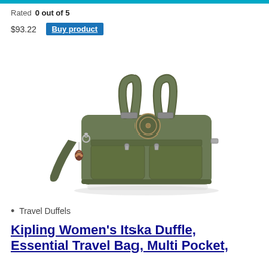Rated 0 out of 5
$93.22  Buy product
[Figure (photo): Kipling dark olive/green women's Itska duffle travel bag with dual top handles, front zip pockets, a crossbody strap, and a small monkey keychain charm hanging from the left strap.]
Travel Duffels
Kipling Women's Itska Duffle, Essential Travel Bag, Multi Pocket,